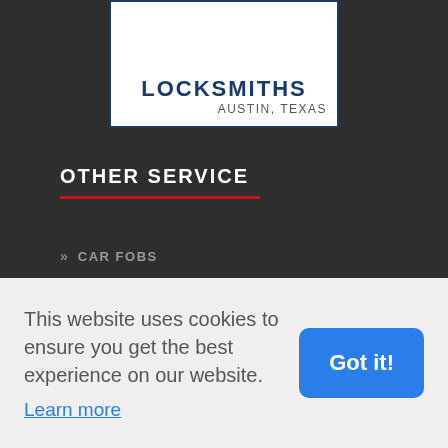[Figure (logo): Locksmith company logo showing LOCKSMITHS text and AUSTIN, TEXAS subtitle on white background with dark blue border]
OTHER SERVICE
» CAR FOBS
» TRANSPONDER CAR KEYS
» BURGLARY DAMAGE REPAIR
» GARAGE DOORS
This website uses cookies to ensure you get the best experience on our website.
Learn more
Got it!